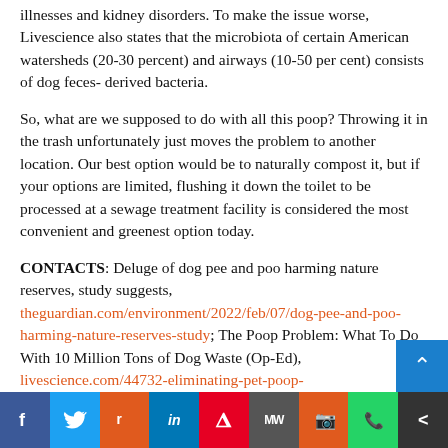illnesses and kidney disorders. To make the issue worse, Livescience also states that the microbiota of certain American watersheds (20-30 percent) and airways (10-50 per cent) consists of dog feces- derived bacteria.
So, what are we supposed to do with all this poop? Throwing it in the trash unfortunately just moves the problem to another location. Our best option would be to naturally compost it, but if your options are limited, flushing it down the toilet to be processed at a sewage treatment facility is considered the most convenient and greenest option today.
CONTACTS: Deluge of dog pee and poo harming nature reserves, study suggests, theguardian.com/environment/2022/feb/07/dog-pee-and-poo-harming-nature-reserves-study; The Poop Problem: What To Do With 10 Million Tons of Dog Waste (Op-Ed), livescience.com/44732-eliminating-pet-poop-